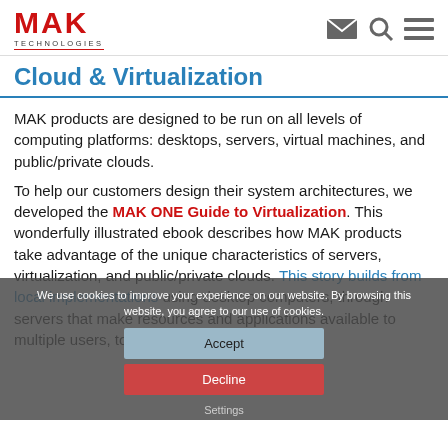MAK TECHNOLOGIES
Cloud & Virtualization
MAK products are designed to be run on all levels of computing platforms: desktops, servers, virtual machines, and public/private clouds.
To help our customers design their system architectures, we developed the MAK ONE Guide to Virtualization. This wonderfully illustrated ebook describes how MAK products take advantage of the unique characteristics of servers, virtualization, and public/private clouds. This story builds from local implementations using desktop computers, through servers that make resources and applications available to multiple users, to virtualization as a way to
We use cookies to improve your experience on our website. By browsing this website, you agree to our use of cookies.
Accept
Decline
Settings